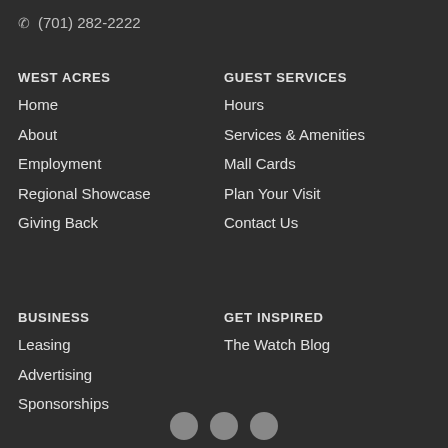(701) 282-2222
WEST ACRES
Home
About
Employment
Regional Showcase
Giving Back
GUEST SERVICES
Hours
Services & Amenities
Mall Cards
Plan Your Visit
Contact Us
BUSINESS
Leasing
Advertising
Sponsorships
GET INSPIRED
The Watch Blog